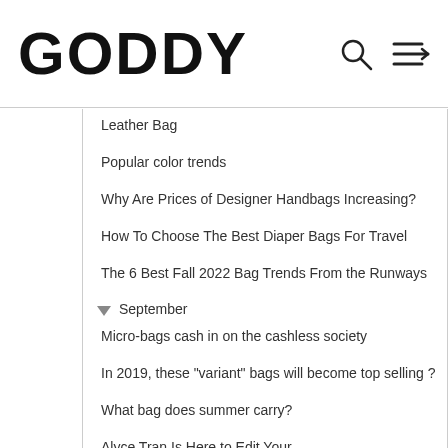GODDY
Leather Bag
Popular color trends
Why Are Prices of Designer Handbags Increasing?
How To Choose The Best Diaper Bags For Travel
The 6 Best Fall 2022 Bag Trends From the Runways
September
Micro-bags cash in on the cashless society
In 2019, these "variant" bags will become top selling ?
What bag does summer carry?
Alyce Tran Is Here to Edit Your